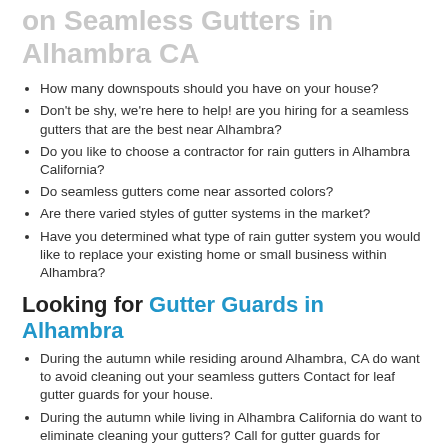Do you have questions like these on Seamless Gutters in Alhambra CA
How many downspouts should you have on your house?
Don't be shy, we're here to help! are you hiring for a seamless gutters that are the best near Alhambra?
Do you like to choose a contractor for rain gutters in Alhambra California?
Do seamless gutters come near assorted colors?
Are there varied styles of gutter systems in the market?
Have you determined what type of rain gutter system you would like to replace your existing home or small business within Alhambra?
Looking for Gutter Guards in Alhambra
During the autumn while residing around Alhambra, CA do want to avoid cleaning out your seamless gutters Contact for leaf gutter guards for your house.
During the autumn while living in Alhambra California do want to eliminate cleaning your gutters? Call for gutter guards for